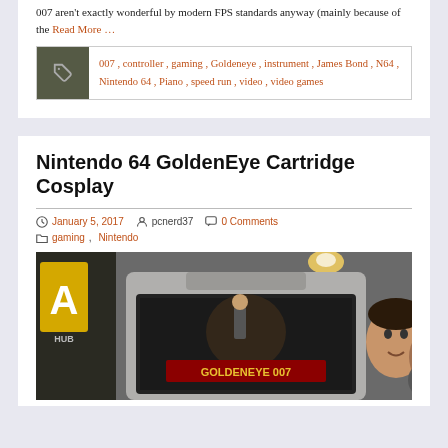007 aren't exactly wonderful by modern FPS standards anyway (mainly because of the Read More …
007 , controller , gaming , Goldeneye , instrument , James Bond , N64 , Nintendo 64 , Piano , speed run , video , video games
Nintendo 64 GoldenEye Cartridge Cosplay
January 5, 2017  pcnerd37  0 Comments
gaming, Nintendo
[Figure (photo): Photo of a person dressed as a Nintendo 64 GoldenEye cartridge at what appears to be a gaming event or convention. The costume is a large grey N64 cartridge shape with the GoldenEye 007 cover art. A yellow letter 'A' sign and 'HUB' lettering are visible in the background. A circular scroll-to-top button is visible in the bottom right.]